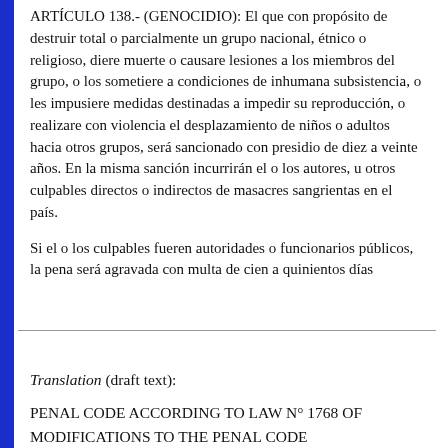ARTÍCULO 138.- (GENOCIDIO): El que con propósito de destruir total o parcialmente un grupo nacional, étnico o religioso, diere muerte o causare lesiones a los miembros del grupo, o los sometiere a condiciones de inhumana subsistencia, o les impusiere medidas destinadas a impedir su reproducción, o realizare con violencia el desplazamiento de niños o adultos hacia otros grupos, será sancionado con presidio de diez a veinte años. En la misma sanción incurrirán el o los autores, u otros culpables directos o indirectos de masacres sangrientas en el país.
Si el o los culpables fueren autoridades o funcionarios públicos, la pena será agravada con multa de cien a quinientos días
Translation (draft text):
PENAL CODE ACCORDING TO LAW N° 1768 OF MODIFICATIONS TO THE PENAL CODE BOOK SECOND SPECIAL PART